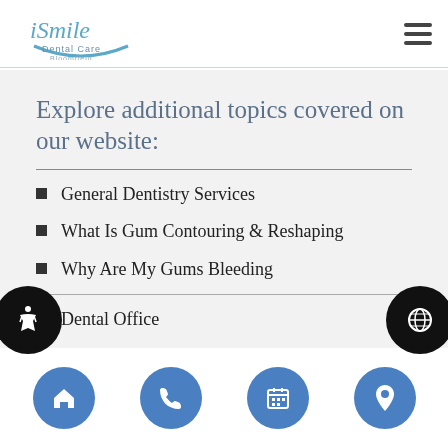iSmile Dental Care Bloomfield
Explore additional topics covered on our website:
General Dentistry Services
What Is Gum Contouring & Reshaping
Why Are My Gums Bleeding
Dental Office
Home | Phone | Calendar | Location